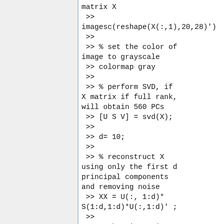matrix X
 >>
imagesc(reshape(X(:,1),20,28)')
 >>
 >> % set the color of image to grayscale
 >> colormap gray
 >>
 >> % perform SVD, if X matrix if full rank, will obtain 560 PCs
 >> [U S V] = svd(X);
 >>
 >> d= 10;
 >>
 >> % reconstruct X using only the first d principal components and removing noise
 >> XX = U(:, 1:d)*S(1:d,1:d)*U(:,1:d)' ;
 >>
 >> % show image in column 1 of XX which is a noise reduced